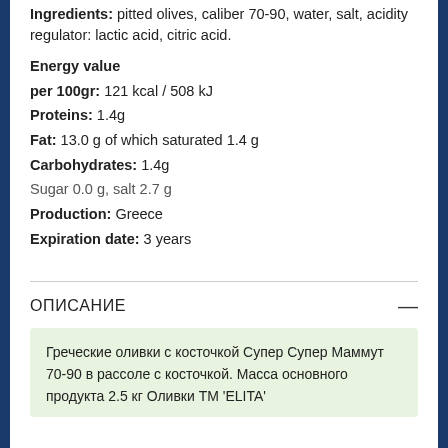Ingredients: pitted olives, caliber 70-90, water, salt, acidity regulator: lactic acid, citric acid.
Energy value per 100gr: 121 kcal / 508 kJ
Proteins: 1.4g
Fat: 13.0 g of which saturated 1.4 g
Carbohydrates: 1.4g
Sugar 0.0 g, salt 2.7 g
Production: Greece
Expiration date: 3 years
ОПИСАНИЕ
Греческие оливки с косточкой Супер Супер Маммут 70-90 в рассоле с косточкой. Масса основного продукта 2.5 кг Оливки ТМ 'ELITA'